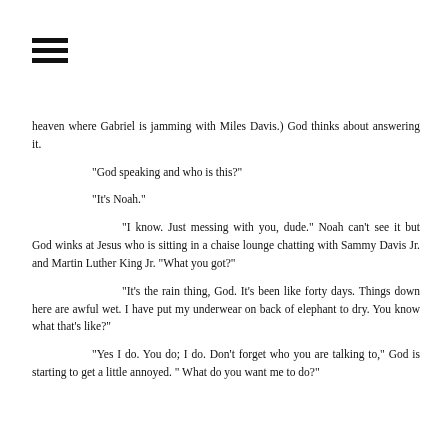[Figure (other): Hamburger menu icon with three horizontal bars]
heaven where Gabriel is jamming with Miles Davis.) God thinks about answering it.
"God speaking and who is this?"
"It's Noah."
"I know. Just messing with you, dude." Noah can't see it but God winks at Jesus who is sitting in a chaise lounge chatting with Sammy Davis Jr. and Martin Luther King Jr. "What you got?"
"It's the rain thing, God. It's been like forty days. Things down here are awful wet. I have put my underwear on back of elephant to dry. You know what that's like?"
"Yes I do. You do; I do. Don't forget who you are talking to," God is starting to get a little annoyed. " What do you want me to do?"